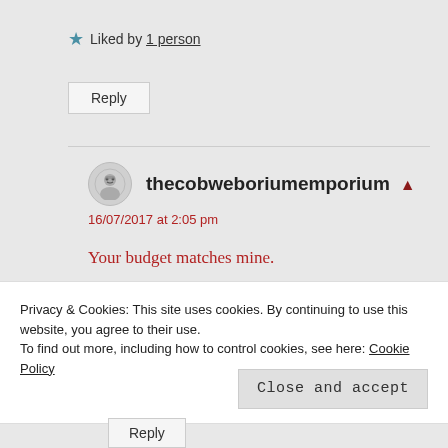★ Liked by 1 person
Reply
thecobweboriumemporium ▲
16/07/2017 at 2:05 pm
Your budget matches mine.
I moved into a discarded matchbox!
Privacy & Cookies: This site uses cookies. By continuing to use this website, you agree to their use.
To find out more, including how to control cookies, see here: Cookie Policy
Close and accept
Reply